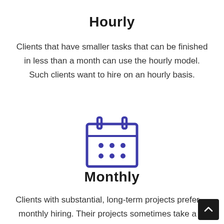Hourly
Clients that have smaller tasks that can be finished in less than a month can use the hourly model. Such clients want to hire on an hourly basis.
[Figure (illustration): A purple calendar icon with dots representing days of the month and two tabs at the top.]
Monthly
Clients with substantial, long-term projects prefer monthly hiring. Their projects sometimes take a number of years to create.